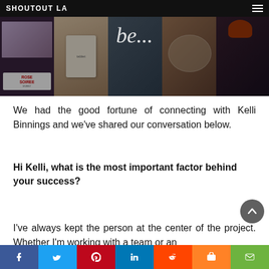SHOUTOUT LA
[Figure (photo): Hero banner collage of lifestyle photos including social media posts, a rose soiree card, a tablet device, food plating, cocktail drinks, and a performer with orange hair. A cursive script overlay reads 'be...' over a dark overlay.]
We had the good fortune of connecting with Kelli Binnings and we've shared our conversation below.
Hi Kelli, what is the most important factor behind your success?
I've always kept the person at the center of the project. Whether I'm working with a team or an individual, my goal is to provide value in a fun...